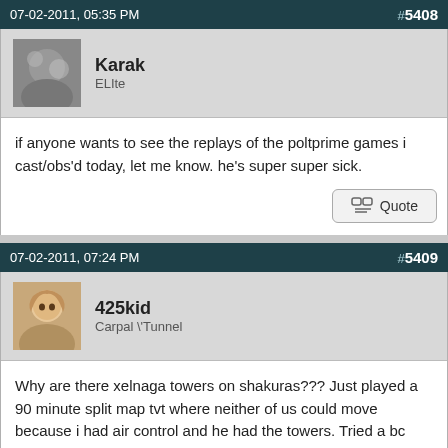07-02-2011, 05:35 PM   #5408
Karak
ELIte
if anyone wants to see the replays of the poltprime games i cast/obs'd today, let me know. he's super super sick.
07-02-2011, 07:24 PM   #5409
425kid
Carpal \' Tunnel
Why are there xelnaga towers on shakuras??? Just played a 90 minute split map tvt where neither of us could move because i had air control and he had the towers. Tried a bc switch but he scouted and just turreted his entire tank line. Get rid of xelnaga towers completely imo